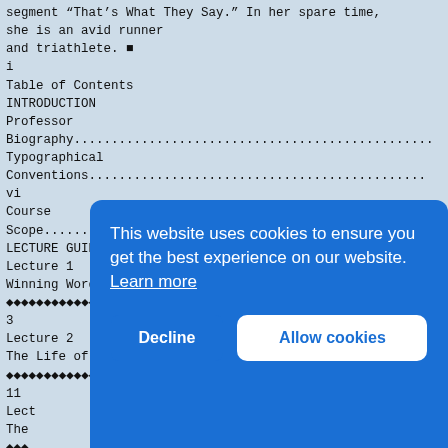segment “That’s What They Say.” In her spare time, she is an avid runner and triathlete. ■
i
Table of Contents
INTRODUCTION
Professor Biography............................................
Typographical Conventions............................................
vi
Course Scope............................................
LECTURE GUIDES
Lecture 1
Winning Words, Banished Words
[decorative dots] 3
Lecture 2
The Life of a Word, from Birth to Death
[decorative dots] 11
Lecture [truncated]
The [truncated]
[decorative dots]
Lecture [truncated]
Trea[truncated]
[decorative dots]
Lecture [truncated]
Yarn[truncated]
[decorative dots]
Lecture 6
This website uses cookies to ensure you get the best experience on our website. Learn more
Decline    Allow cookies